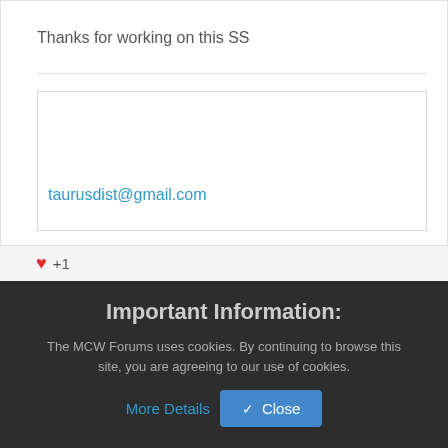Thanks for working on this SS
taurusdist@gmail.com
❤ +1
Important Information:
The MCW Forums uses cookies. By continuing to browse this site, you are agreeing to our use of cookies.
More Details
✔ Close